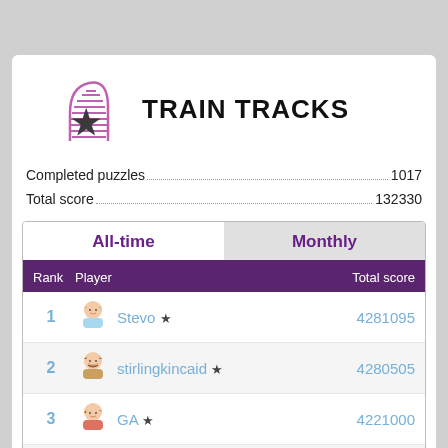TRAIN TRACKS
Completed puzzles...............................................1017
Total score.......................................................132330
| Rank | Player | Total score |
| --- | --- | --- |
| 1 | Stevo ★ | 4281095 |
| 2 | stirlingkincaid ★ | 4280505 |
| 3 | GA ★ | 4221000 |
| 4 | antique ★ | 3099535 |